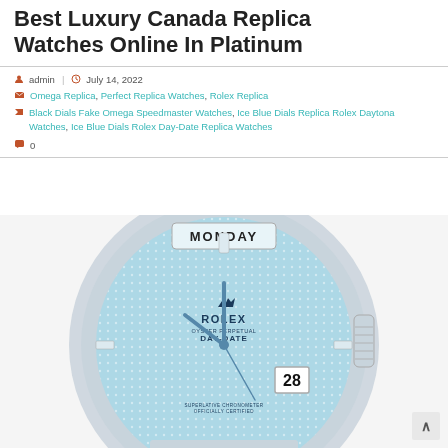Best Luxury Canada Replica Watches Online In Platinum
admin  July 14, 2022
Omega Replica, Perfect Replica Watches, Rolex Replica
Black Dials Fake Omega Speedmaster Watches, Ice Blue Dials Replica Rolex Daytona Watches, Ice Blue Dials Rolex Day-Date Replica Watches
0
[Figure (photo): Close-up photo of a Rolex Oyster Perpetual Day-Date replica watch with ice blue dial showing MONDAY and date 28, platinum case and bracelet.]